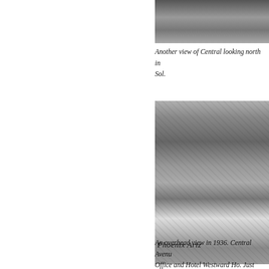[Figure (photo): Partial black and white photo visible at top, showing what appears to be a street or vehicle scene - cropped/cut off at top of page]
Another view of Central looking north in … Sol.
[Figure (photo): Aerial black and white photograph of Phoenix, Arizona in 1936 showing downtown area with streets, buildings including what appears to be a large white civic building and Hotel Westward Ho. Text 'Phoenix Ariz' visible at bottom of photo.]
An overhead view in 1936. Central Avenu… Office and Hotel Westward Ho. Just north… is Central Methodist Church. Trinity Cath…